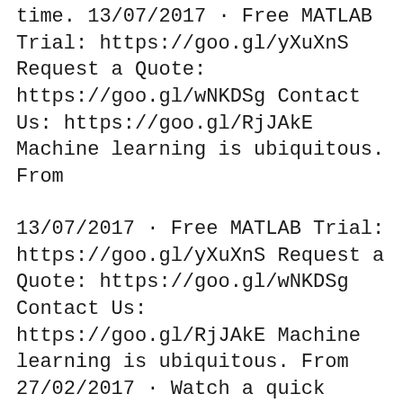time. 13/07/2017 · Free MATLAB Trial: https://goo.gl/yXuXnS Request a Quote: https://goo.gl/wNKDSg Contact Us: https://goo.gl/RjJAkE Machine learning is ubiquitous. From
13/07/2017 · Free MATLAB Trial: https://goo.gl/yXuXnS Request a Quote: https://goo.gl/wNKDSg Contact Us: https://goo.gl/RjJAkE Machine learning is ubiquitous. From 27/02/2017 · Watch a quick demonstration of how to use MATLAB® for transfer learning which is a practical way to apply deep learning to your problems. This demo
Deep Learning with MATLAB: Deep Learning in 11 Lines of MATLAB Code